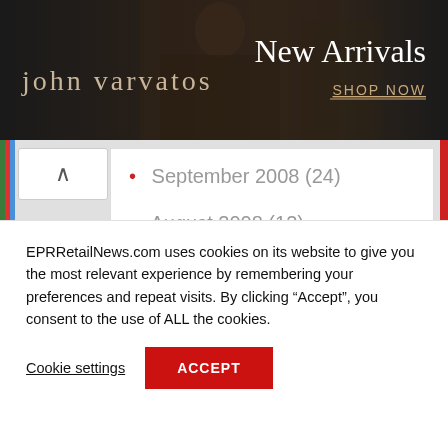[Figure (screenshot): John Varvatos banner advertisement with dark background showing fashion figure, 'john varvatos' text on left, 'New Arrivals SHOP NOW' on right]
September 2008 (24)
August 2008 (12)
BLOGROLL
Amazon.com
EPRRetailNews.com uses cookies on its website to give you the most relevant experience by remembering your preferences and repeat visits. By clicking “Accept”, you consent to the use of ALL the cookies.
Cookie settings
ACCEPT